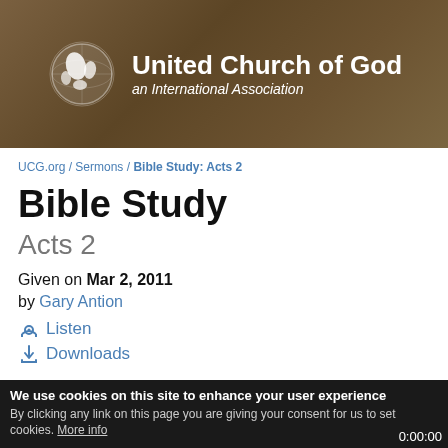[Figure (logo): United Church of God logo with globe icon, white text on brown background. Main text: 'United Church of God', subtitle: 'an International Association']
UCG.org / Sermons / Bible Study: Acts 2
Bible Study
Acts 2
Given on Mar 2, 2011
by Gary Antion
Listen
Downloads
We use cookies on this site to enhance your user experience By clicking any link on this page you are giving your consent for us to set cookies. More info